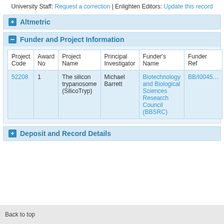University Staff: Request a correction | Enlighten Editors: Update this record
Altmetric
Funder and Project Information
| Project Code | Award No | Project Name | Principal Investigator | Funder's Name | Funder Ref |
| --- | --- | --- | --- | --- | --- |
| 52208 | 1 | The silicon trypanosome (SilicoTryp) | Michael Barrett | Biotechnology and Biological Sciences Research Council (BBSRC) | BB/I00459... |
Deposit and Record Details
Back to top